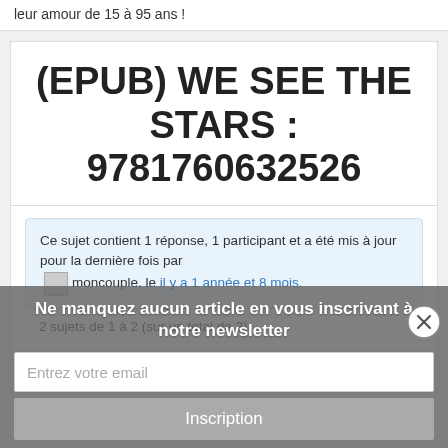leur amour de 15 à 95 ans !
(EPUB) WE SEE THE STARS : 9781760632526
Ce sujet contient 1 réponse, 1 participant et a été mis à jour pour la dernière fois par moncouple, le il y a 1 année et 8 mois.
2 sujets de 1 à 2 (sur un total de 2)
Ne manquez aucun article en vous inscrivant à notre newsletter
Entrez votre email
Inscription